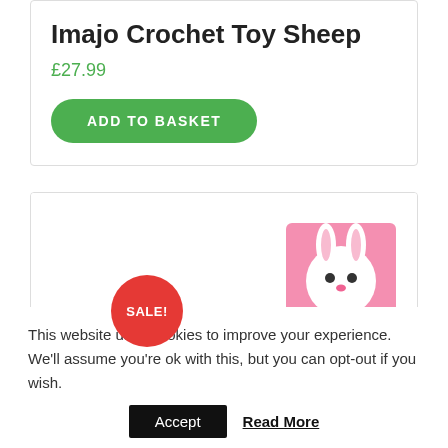Imajo Crochet Toy Sheep
£27.99
ADD TO BASKET
[Figure (photo): Product image card showing colorful toy building blocks with animal and vehicle illustrations, and a SALE! badge in red circle]
This website uses cookies to improve your experience. We'll assume you're ok with this, but you can opt-out if you wish.
Accept  Read More